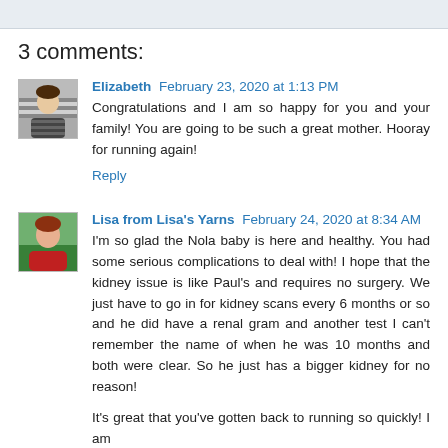3 comments:
Elizabeth  February 23, 2020 at 1:13 PM
Congratulations and I am so happy for you and your family! You are going to be such a great mother. Hooray for running again!
Reply
Lisa from Lisa's Yarns  February 24, 2020 at 8:34 AM
I'm so glad the Nola baby is here and healthy. You had some serious complications to deal with! I hope that the kidney issue is like Paul's and requires no surgery. We just have to go in for kidney scans every 6 months or so and he did have a renal gram and another test I can't remember the name of when he was 10 months and both were clear. So he just has a bigger kidney for no reason!
It's great that you've gotten back to running so quickly! I am